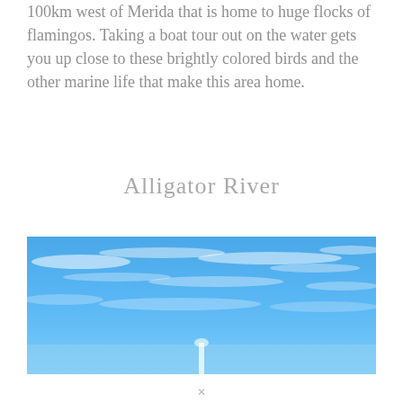100km west of Merida that is home to huge flocks of flamingos. Taking a boat tour out on the water gets you up close to these brightly colored birds and the other marine life that make this area home.
Alligator River
[Figure (photo): Wide panoramic photo of a blue sky with light wispy clouds and a faint white structure or mast visible at the bottom center]